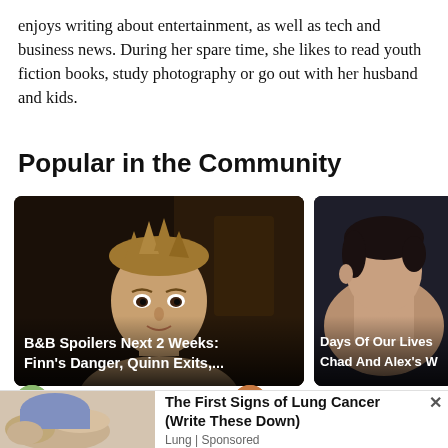enjoys writing about entertainment, as well as tech and business news. During her spare time, she likes to read youth fiction books, study photography or go out with her husband and kids.
Popular in the Community
[Figure (photo): Card showing a man with blond spiky hair in a dark scene, with overlay text 'B&B Spoilers Next 2 Weeks: Finn's Danger, Quinn Exits,...']
[Figure (photo): Partial card showing a dark-haired person, with overlay text 'Days Of Our Lives Chad And Alex's W']
[Figure (photo): Advertisement thumbnail showing a person's arm/leg, with ad title 'The First Signs of Lung Cancer (Write These Down)' and source 'Lung | Sponsored']